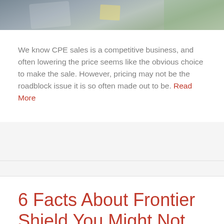[Figure (photo): Partial photo at top of page showing a person working, cropped at top]
We know CPE sales is a competitive business, and often lowering the price seems like the obvious choice to make the sale. However, pricing may not be the roadblock issue it is so often made out to be. Read More
6 Facts About Frontier Shield You Might Not